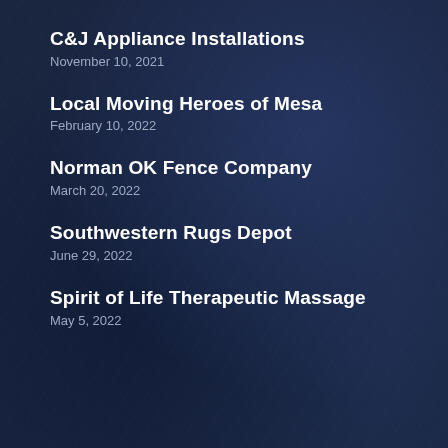C&J Appliance Installations
November 10, 2021
Local Moving Heroes of Mesa
February 10, 2022
Norman OK Fence Company
March 20, 2022
Southwestern Rugs Depot
June 29, 2022
Spirit of Life Therapeutic Massage
May 5, 2022